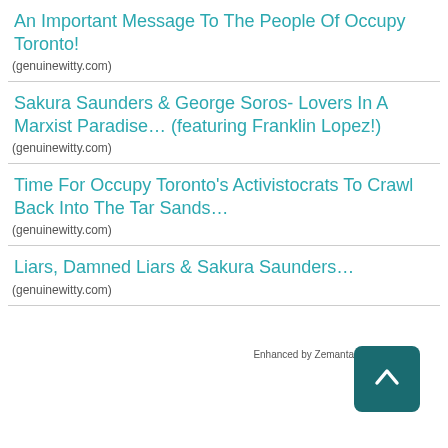An Important Message To The People Of Occupy Toronto!
(genuinewitty.com)
Sakura Saunders & George Soros- Lovers In A Marxist Paradise… (featuring Franklin Lopez!)
(genuinewitty.com)
Time For Occupy Toronto's Activistocrats To Crawl Back Into The Tar Sands…
(genuinewitty.com)
Liars, Damned Liars & Sakura Saunders…
(genuinewitty.com)
[Figure (other): Enhanced by Zemanta button with back-to-top arrow overlay in dark teal]